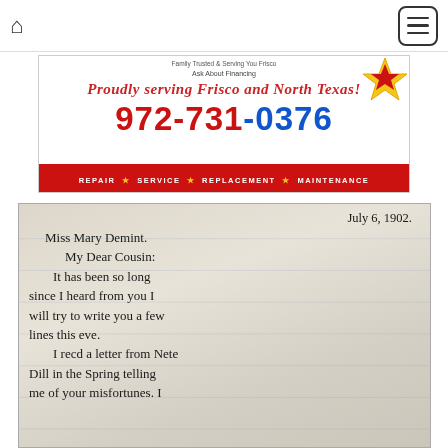[Figure (screenshot): Website navigation bar with home icon on left and hamburger menu button on right]
[Figure (photo): Advertisement banner for HVAC company. Text reads: 'Ask About Financing', 'Proudly serving Frisco and North Texas!', '972-731-0376', 'REPAIR ★ SERVICE ★ REPLACEMENT ★ MAINTENANCE']
[Figure (photo): Photograph of a handwritten letter dated July 6, 1902, addressed to Miss Mary Demint. The text reads: 'My Dear Cousin, It has been so long since I heard from you I will try to write you a few lines this eve. I recd a letter from Nete Dill in the Spring telling me of your misfortunes. I']